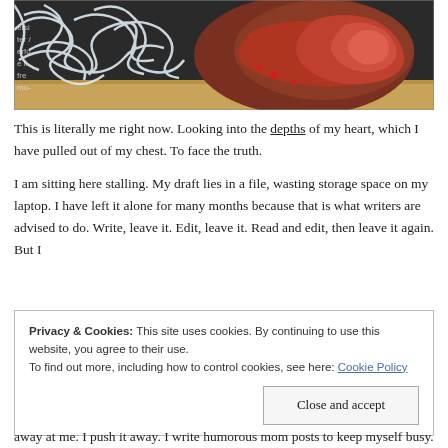[Figure (illustration): A detailed pencil and colored drawing of what appears to be a human heart with visible red tissue and blood, resting on a wooden surface, with white tangled lines or strings overlaid. There is some text visible on the left edge of the image.]
This is literally me right now. Looking into the depths of my heart, which I have pulled out of my chest. To face the truth.
I am sitting here stalling. My draft lies in a file, wasting storage space on my laptop. I have left it alone for many months because that is what writers are advised to do. Write, leave it. Edit, leave it. Read and edit, then leave it again. But I
Privacy & Cookies: This site uses cookies. By continuing to use this website, you agree to their use.
To find out more, including how to control cookies, see here: Cookie Policy
Close and accept
away at me. I push it away. I write humorous mom posts to keep myself busy. And